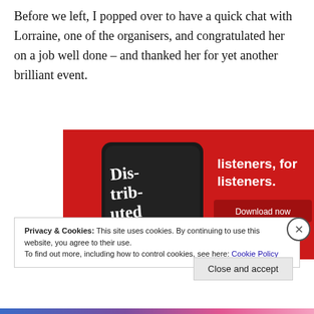Before we left, I popped over to have a quick chat with Lorraine, one of the organisers, and congratulated her on a job well done – and thanked her for yet another brilliant event.
[Figure (illustration): Advertisement banner for a podcast app called 'Dis-trib-uted' showing a smartphone on a red background with text 'listeners, for listeners.' and a 'Download now' button.]
Privacy & Cookies: This site uses cookies. By continuing to use this website, you agree to their use.
To find out more, including how to control cookies, see here: Cookie Policy
Close and accept